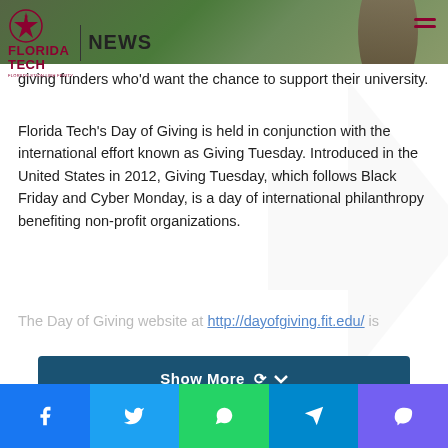Florida Tech NEWS
giving funders who'd want the chance to support their university.
Florida Tech’s Day of Giving is held in conjunction with the international effort known as Giving Tuesday. Introduced in the United States in 2012, Giving Tuesday, which follows Black Friday and Cyber Monday, is a day of international philanthropy benefiting non-profit organizations.
The Day of Giving website at http://dayofgiving.fit.edu/ is
[Figure (other): Show More button with chevron down icon]
Social share bar: Facebook, Twitter, WhatsApp, Telegram, Viber